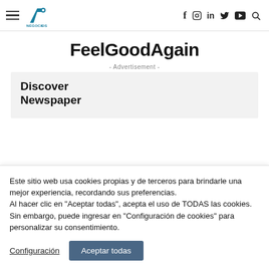Negocios & Convenciones – navigation header with hamburger menu, logo, social icons (f, instagram, in, twitter, youtube, search)
FeelGoodAgain
- Advertisement -
[Figure (other): Advertisement box showing 'Discover Newspaper' text on a light gray background]
Este sitio web usa cookies propias y de terceros para brindarle una mejor experiencia, recordando sus preferencias.
Al hacer clic en "Aceptar todas", acepta el uso de TODAS las cookies.
Sin embargo, puede ingresar en "Configuración de cookies" para personalizar su consentimiento.
Configuración   Aceptar todas